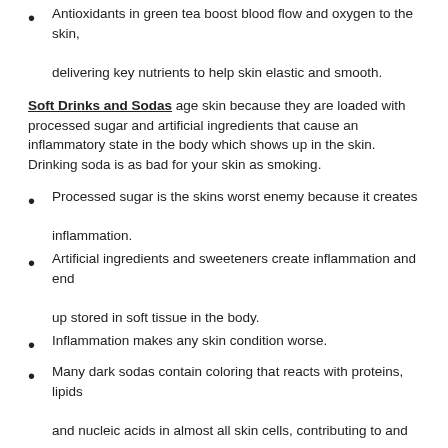Antioxidants in green tea boost blood flow and oxygen to the skin, delivering key nutrients to help skin elastic and smooth.
Soft Drinks and Sodas age skin because they are loaded with processed sugar and artificial ingredients that cause an inflammatory state in the body which shows up in the skin. Drinking soda is as bad for your skin as smoking.
Processed sugar is the skins worst enemy because it creates inflammation.
Artificial ingredients and sweeteners create inflammation and end up stored in soft tissue in the body.
Inflammation makes any skin condition worse.
Many dark sodas contain coloring that reacts with proteins, lipids and nucleic acids in almost all skin cells, contributing to and possibly accelerating the aging process.
Health Hack: If you are having a hard time giving up soda use this trick. Take your soda and pour half in a glass, fill to the top with club soda. This feels like you are still drinking your soda but helps you